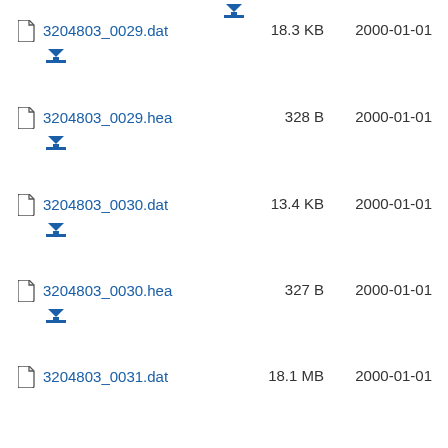3204803_0029.dat  18.3 KB  2000-01-01
3204803_0029.hea  328 B  2000-01-01
3204803_0030.dat  13.4 KB  2000-01-01
3204803_0030.hea  327 B  2000-01-01
3204803_0031.dat  18.1 MB  2000-01-01
3204803_0031.hea  329 B  2000-01-01
3204803_0032.dat  1.2 KB  2000-01-01
3204803_0032.hea